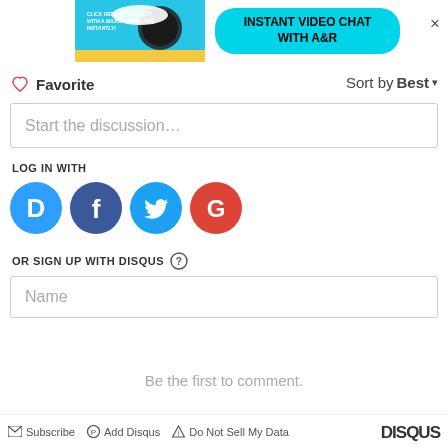[Figure (screenshot): Ad banner showing headphones and phone image on blue background with 'INSTANT VIDEO CHAT WITH A&R' cyan button and X close button]
♡ Favorite
Sort by Best ▾
Start the discussion…
LOG IN WITH
[Figure (logo): Disqus social login icons: Disqus (blue D), Facebook (blue F), Twitter (blue bird), Google (red G)]
OR SIGN UP WITH DISQUS ?
Name
Be the first to comment.
✉ Subscribe  ⓟ Add Disqus  ⚠ Do Not Sell My Data   DISQUS